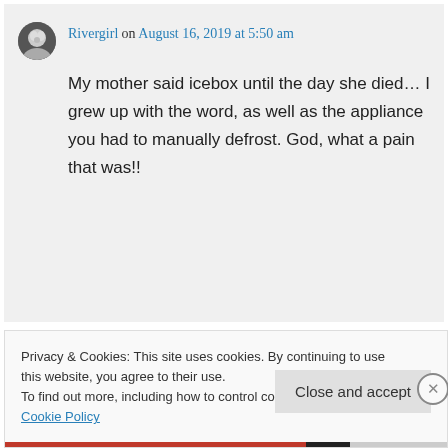Rivergirl on August 16, 2019 at 5:50 am
My mother said icebox until the day she died… I grew up with the word, as well as the appliance you had to manually defrost. God, what a pain that was!!
Privacy & Cookies: This site uses cookies. By continuing to use this website, you agree to their use.
To find out more, including how to control cookies, see here: Cookie Policy
Close and accept